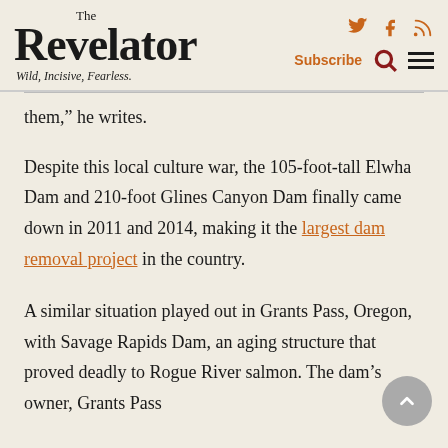The Revelator — Wild, Incisive, Fearless.
them,” he writes.
Despite this local culture war, the 105-foot-tall Elwha Dam and 210-foot Glines Canyon Dam finally came down in 2011 and 2014, making it the largest dam removal project in the country.
A similar situation played out in Grants Pass, Oregon, with Savage Rapids Dam, an aging structure that proved deadly to Rogue River salmon. The dam’s owner, Grants Pass